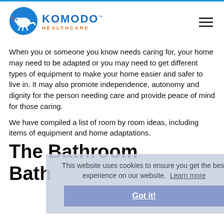[Figure (logo): Komodo Healthcare logo — blue circle with lizard/komodo icon on left, KOMODO™ in bold blue and HEALTHCARE in orange lettering on right]
When you or someone you know needs caring for, your home may need to be adapted or you may need to get different types of equipment to make your home easier and safer to live in. It may also promote independence, autonomy and dignity for the person needing care and provide peace of mind for those caring.
We have compiled a list of room by room ideas, including items of equipment and home adaptations.
The Bathroom
Bath
This website uses cookies to ensure you get the best experience on our website.  Learn more
Got it!